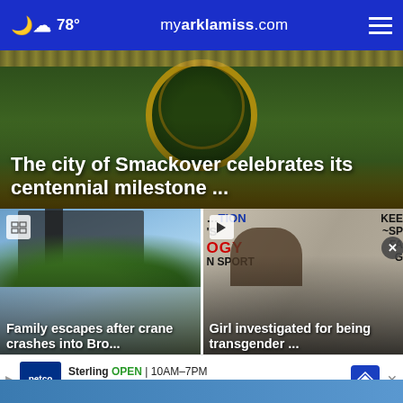78° myarklamiss.com
[Figure (photo): Dark background with decorative circular element and golden trim, serving as hero image background]
The city of Smackover celebrates its centennial milestone ...
[Figure (photo): Building with trees and blue sky, gallery icon in top left]
Family escapes after crane crashes into Bro...
[Figure (photo): Protesters holding signs with text including NATION, OGY, IN SPORT, KEEP, FA; video play button icon in top left]
Girl investigated for being transgender ...
Sterling OPEN 10AM–7PM 22000 Dulles Retail Plaza, #110, S...